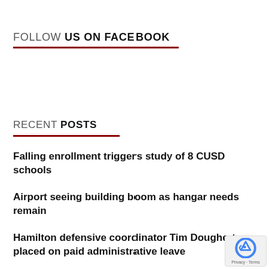FOLLOW US ON FACEBOOK
RECENT POSTS
Falling enrollment triggers study of 8 CUSD schools
Airport seeing building boom as hangar needs remain
Hamilton defensive coordinator Tim Dougherty placed on paid administrative leave